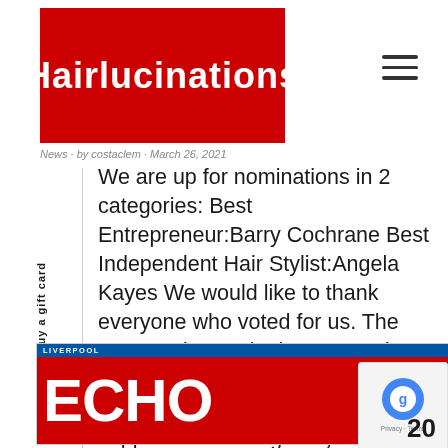Hairlucinations
News · by costaclem · March 26, 2021
We are up for nominations in 2 categories: Best Entrepreneur:Barry Cochrane Best Independent Hair Stylist:Angela Kayes We would like to thank everyone who voted for us. The opportunity to win these awards would be great for an independent salon like us – so all our client's support has been greatly appreciated. So finger's crossed...
Read more ☷
[Figure (screenshot): Liverpool Echo newspaper logo — blue header bar with 'LIVERPOOL' text and website URL, red background with 'ECHO' in large white bold lettering and a Liver Bird emblem]